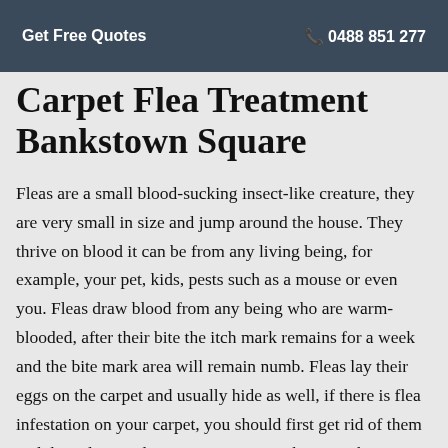Get Free Quotes   0488 851 277
Carpet Flea Treatment Bankstown Square
Fleas are a small blood-sucking insect-like creature, they are very small in size and jump around the house. They thrive on blood it can be from any living being, for example, your pet, kids, pests such as a mouse or even you. Fleas draw blood from any being who are warm-blooded, after their bite the itch mark remains for a week and the bite mark area will remain numb. Fleas lay their eggs on the carpet and usually hide as well, if there is flea infestation on your carpet, you should first get rid of them and then clean and sanitize your carpet because the eggs will hatch any time. We have expert technicians who know the method of eradication of